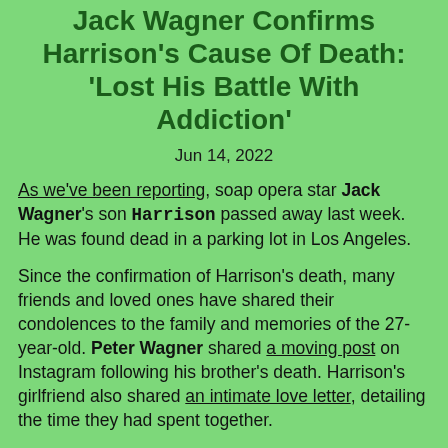Jack Wagner Confirms Harrison's Cause Of Death: 'Lost His Battle With Addiction'
Jun 14, 2022
As we've been reporting, soap opera star Jack Wagner's son Harrison passed away last week. He was found dead in a parking lot in Los Angeles.
Since the confirmation of Harrison's death, many friends and loved ones have shared their condolences to the family and memories of the 27-year-old. Peter Wagner shared a moving post on Instagram following his brother's death. Harrison's girlfriend also shared an intimate love letter, detailing the time they had spent together.
Related: TikTok Star Cooper Noriega Dead At 19 — Hours After Post About Dying Young